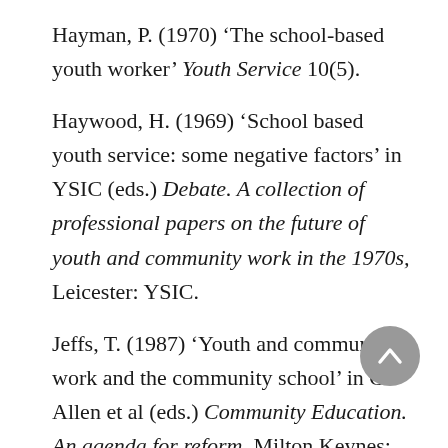Hayman, P. (1970) ‘The school-based youth worker’ Youth Service 10(5).
Haywood, H. (1969) ‘School based youth service: some negative factors’ in YSIC (eds.) Debate. A collection of professional papers on the future of youth and community work in the 1970s, Leicester: YSIC.
Jeffs, T. (1987) ‘Youth and community work and the community school’ in G. Allen et al (eds.) Community Education. An agenda for reform, Milton Keynes: Open University Press.
Jeffs, T. & Smith, M. (1988) ‘Youth work and